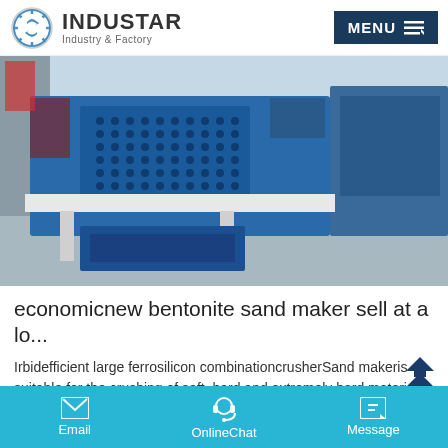INDUSTAR Industry & Factory | MENU
[Figure (photo): Industrial blue vibrating screen / sand maker machine on a factory floor, with perforated metal panels and support legs on a concrete surface.]
economicnew bentonite sand maker sell at a lo...
Irbidefficient large ferrosilicon combinationcrusherSand makeris suitable for the crushing of soft, hard and extremely hard material and reshape of those products.Sand MakerThis series
Email  OnlineChat  Message